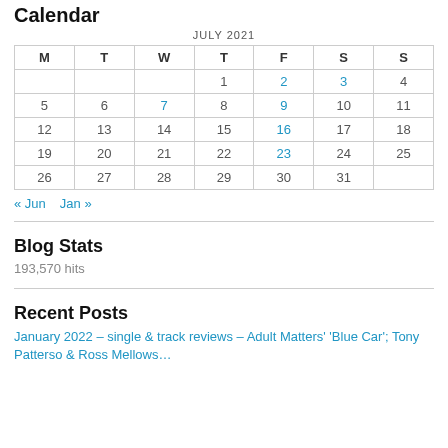Calendar
| M | T | W | T | F | S | S |
| --- | --- | --- | --- | --- | --- | --- |
|  |  |  | 1 | 2 | 3 | 4 |
| 5 | 6 | 7 | 8 | 9 | 10 | 11 |
| 12 | 13 | 14 | 15 | 16 | 17 | 18 |
| 19 | 20 | 21 | 22 | 23 | 24 | 25 |
| 26 | 27 | 28 | 29 | 30 | 31 |  |
« Jun   Jan »
Blog Stats
193,570 hits
Recent Posts
January 2022 – single & track reviews – Adult Matters' 'Blue Car'; Tony Patterso & Ross Mellows…